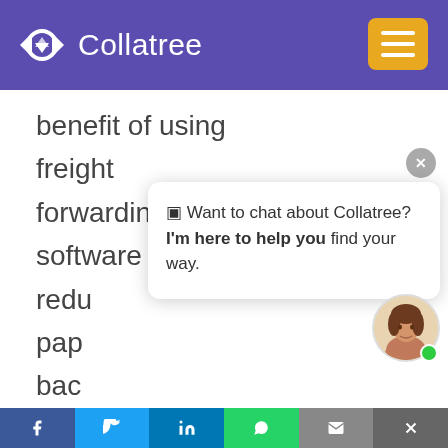Collatree
benefit of using freight forwarding software is to redu... pap... bac... creating final reports, etc.
[Figure (screenshot): Chat popup with close button (x), message: 'Want to chat about Collatree? I'm here to help you find your way.' with female avatar and green online dot]
f | Twitter | in | WhatsApp | email | close